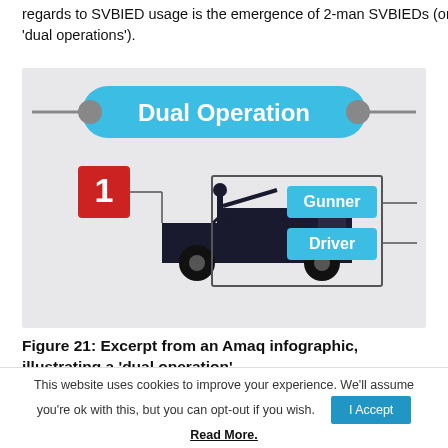regards to SVBIED usage is the emergence of 2-man SVBIEDs (or 'dual operations').
[Figure (infographic): Amaq infographic illustrating a 'Dual Operation' SVBIED with two crew members: a Gunner and a Driver. Shows a truck silhouette with a gunner on top, labeled with a red '1' box, connected by lines to two cyan labels reading 'Gunner' and 'Driver'.]
Figure 21: Excerpt from an Amaq infographic, illustrating a 'dual operation'.
This website uses cookies to improve your experience. We'll assume you're ok with this, but you can opt-out if you wish.
Read More.